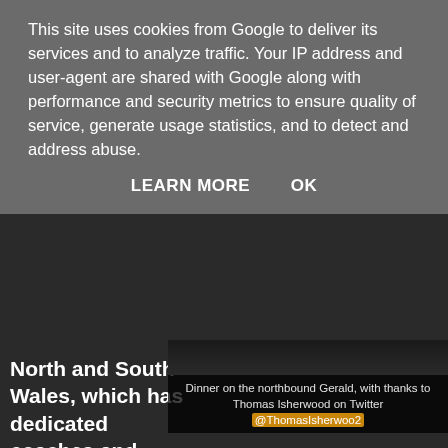This site uses cookies from Google to deliver its services and to analyze traffic. Your IP address and user-agent are shared with Google along with performance and security metrics to ensure quality of service, generate usage statistics, and to detect and address abuse.
LEARN MORE   OK
North and South Wales, which has dedicated coaches and
[Figure (photo): Dark image showing dinner on a train, with caption: Dinner on the northbound Gerald, with thanks to Thomas Isherwood on Twitter @ThomasIsherwoo2]
Dinner on the northbound Gerald, with thanks to Thomas Isherwood on Twitter @ThomasIsherwoo2
complimentary cooked meals in First Class and sounds wonderful, one journey per day in each direction. I understand that the tablecloths have now been removed to give a more "businesslike" atmosphere, which is a pity for leisure travellers but understandable! The train leaves very early in the morning from Holyhead with breakfast served on the way to Cardiff via Chester, and the crew aims to serve everyone, not just those boarding early. The return evening service is more likely to appeal to leisure travellers than the early southbound one, and a three-course cooked dinner is served on this.